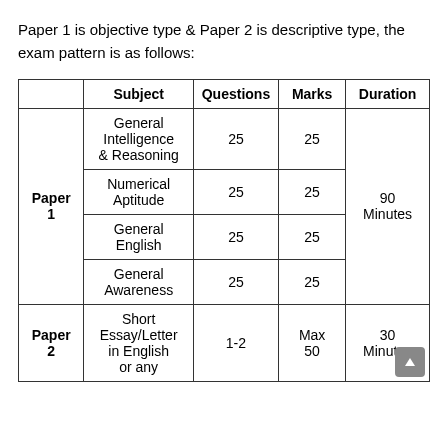Paper 1 is objective type & Paper 2 is descriptive type, the exam pattern is as follows:
|  | Subject | Questions | Marks | Duration |
| --- | --- | --- | --- | --- |
| Paper 1 | General Intelligence & Reasoning | 25 | 25 | 90 Minutes |
|  | Numerical Aptitude | 25 | 25 |  |
|  | General English | 25 | 25 |  |
|  | General Awareness | 25 | 25 |  |
| Paper 2 | Short Essay/Letter in English or any | 1-2 | Max 50 | 30 Minutes |